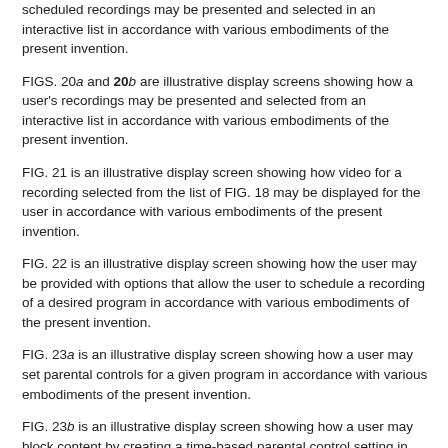scheduled recordings may be presented and selected in an interactive list in accordance with various embodiments of the present invention.
FIGS. 20a and 20b are illustrative display screens showing how a user's recordings may be presented and selected from an interactive list in accordance with various embodiments of the present invention.
FIG. 21 is an illustrative display screen showing how video for a recording selected from the list of FIG. 18 may be displayed for the user in accordance with various embodiments of the present invention.
FIG. 22 is an illustrative display screen showing how the user may be provided with options that allow the user to schedule a recording of a desired program in accordance with various embodiments of the present invention.
FIG. 23a is an illustrative display screen showing how a user may set parental controls for a given program in accordance with various embodiments of the present invention.
FIG. 23b is an illustrative display screen showing how a user may block content by creating a time-based parental control setting in accordance with various embodiments of the present invention.
FIG. 24 is an illustrative display screen showing a program during the paused state and providing the user with the opportunity to perform